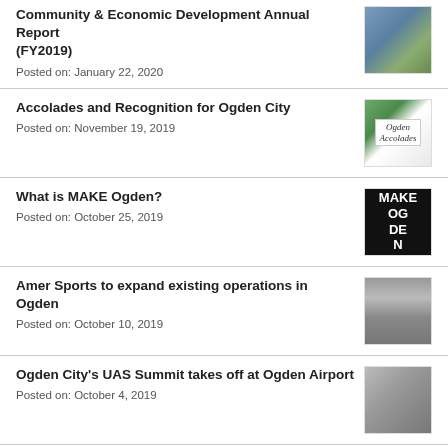Community & Economic Development Annual Report (FY2019)
Posted on: January 22, 2020
Accolades and Recognition for Ogden City
Posted on: November 19, 2019
What is MAKE Ogden?
Posted on: October 25, 2019
Amer Sports to expand existing operations in Ogden
Posted on: October 10, 2019
Ogden City's UAS Summit takes off at Ogden Airport
Posted on: October 4, 2019
Ogden-based review company Shopper Approved unites products under Trust Brands